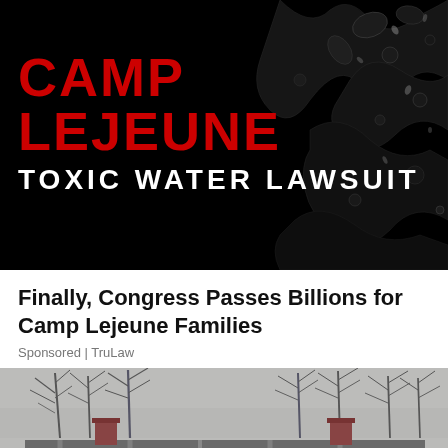[Figure (photo): Dark advertisement image with red bold text 'CAMP LEJEUNE' and white text 'TOXIC WATER LAWSUIT' over a black background with water splash effect on the right side.]
Finally, Congress Passes Billions for Camp Lejeune Families
Sponsored | TruLaw
[Figure (photo): Photograph of an old, dilapidated two-story house with peeling white paint, green shutters, two chimneys, and bare winter trees in the background under an overcast sky.]